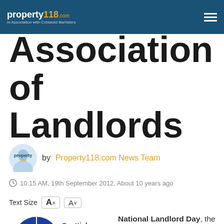property118.com - In Association with Cotswold Barristers
Association of Landlords
by Property118.com News Team
10:15 AM, 19th September 2012, About 10 years ago
Text Size [A+] [A-]
[Figure (logo): Scottish Association of Landlords logo with text 'Representing landlords across Scotland']
National Landlord Day, the major conference and exhibition from the Scottish Association of Landlords is now the largest landlord conference in the UK.